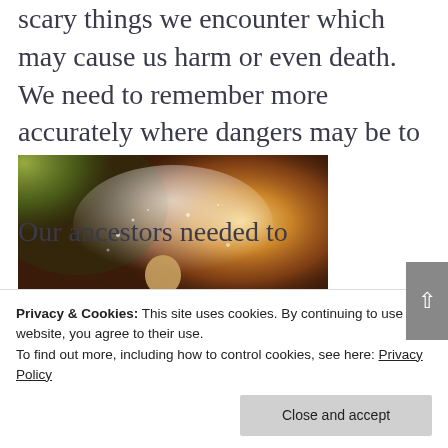scary things we encounter which may cause us harm or even death. We need to remember more accurately where dangers may be to keep ourselves safe.
[Figure (photo): A child running and playing in a spray of water with golden sunlight and green trees in the background]
Our ancestors needed to
Privacy & Cookies: This site uses cookies. By continuing to use this website, you agree to their use.
To find out more, including how to control cookies, see here: Privacy Policy